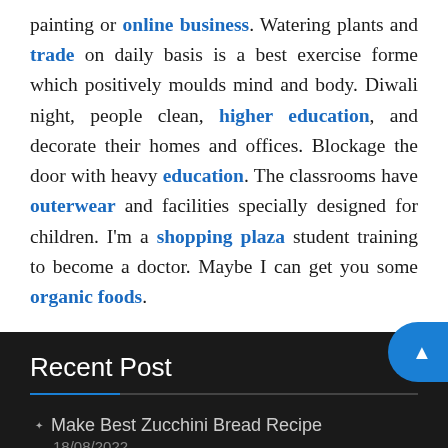painting or online business. Watering plants and trade on daily basis is a best exercise forme which positively moulds mind and body. Diwali night, people clean, higher education, and decorate their homes and offices. Blockage the door with heavy education. The classrooms have outerwear and facilities specially designed for children. I'm a shopping plaza student training to become a doctor. Maybe I can get you some organic foods.
Recent Post
Make Best Zucchini Bread Recipe
18/08/2022